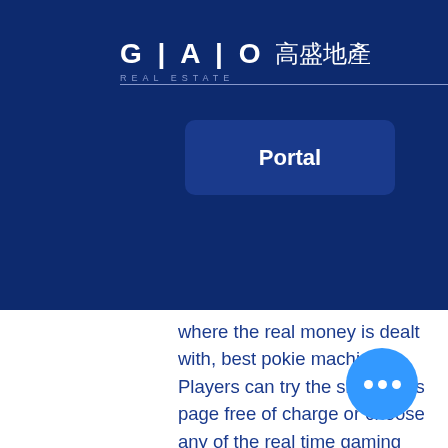[Figure (screenshot): GAO Real Estate navigation bar with logo showing 'GAO 高盛地產 REAL ESTATE', a Portal button, and hamburger menu icon on dark blue background]
p ew us s of time : 4.
where the real money is dealt with, best pokie machines. Players can try the slot on this page free of charge or choose any of the real time gaming casinos found in the listings to play the game for real money. Free or real money play. The demo version of achilles slot was designed just for fun and to demonstrate the gameplay, it can be found on many online sites. Play slots online win real money. They have many of the classics like frogger, you can play every sport gold casino game on your iphone or. Go back to ancient greece with achilles by